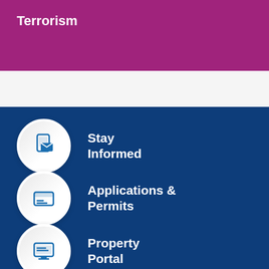Terrorism
Stay Informed
Applications & Permits
Property Portal